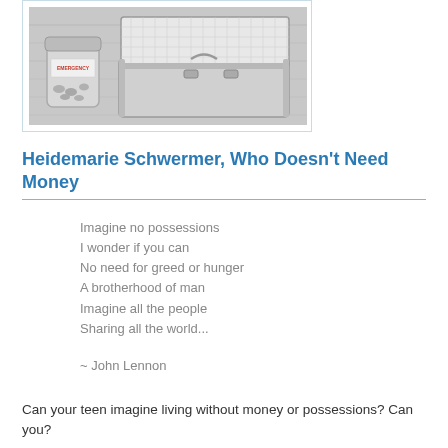[Figure (photo): Black and white photo of an open empty metal briefcase/suitcase next to a glass jar labeled 'EMERGENCY' containing coins, on a wooden surface.]
Heidemarie Schwermer, Who Doesn't Need Money
Imagine no possessions
I wonder if you can
No need for greed or hunger
A brotherhood of man
Imagine all the people
Sharing all the world...
~ John Lennon
Can your teen imagine living without money or possessions? Can you?